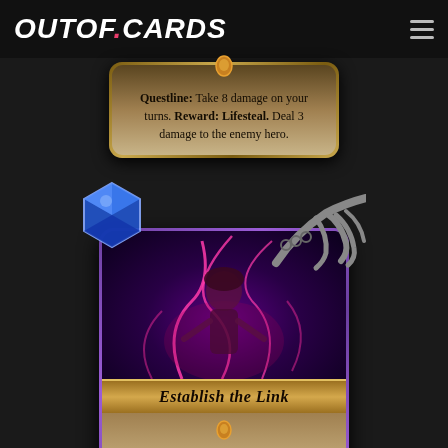OUTOF.CARDS
[Figure (illustration): Hearthstone card snippet showing text: Questline: Take 8 damage on your turns. Reward: Lifesteal. Deal 3 damage to the enemy hero.]
[Figure (illustration): Hearthstone card named 'Establish the Link' showing a female character with pink lightning, dragon claws and blue gem at top. Card text starts: Questline: Take 8]
Questline: Take 8 damage on your turns. Reward: Lifesteal. Deal 3 damage to the enemy hero.
Establish the Link
Questline: Take 8